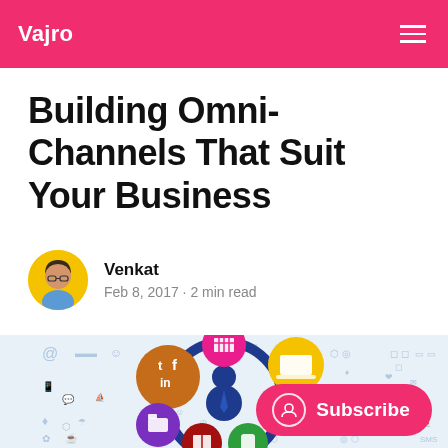Vajro
Building Omni-Channels That Suit Your Business
Venkat
Feb 8, 2017 • 2 min read
[Figure (illustration): Omni-channel business illustration showing a person at the center of a circular diagram with icons for social media (Twitter, Facebook, LinkedIn), a store, a laptop/desktop, a mobile phone, a book, and a folder, set against a light blue background filled with digital/social media icons. A pink Subscribe button appears in the lower right.]